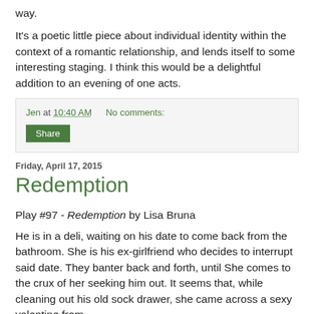way.
It's a poetic little piece about individual identity within the context of a romantic relationship, and lends itself to some interesting staging. I think this would be a delightful addition to an evening of one acts.
Jen at 10:40 AM    No comments:
Share
Friday, April 17, 2015
Redemption
Play #97 - Redemption by Lisa Bruna
He is in a deli, waiting on his date to come back from the bathroom. She is his ex-girlfriend who decides to interrupt said date. They banter back and forth, until She comes to the crux of her seeking him out. It seems that, while cleaning out his old sock drawer, she came across a sexy valentine from